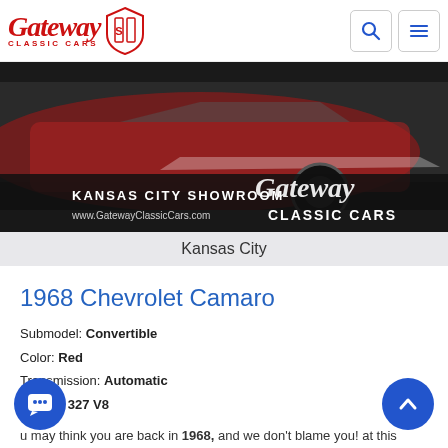[Figure (logo): Gateway Classic Cars logo with red script text and shield emblem]
[Figure (photo): Kansas City Showroom banner photo showing a classic red car with Gateway Classic Cars branding and website www.GatewayClassicCars.com]
Kansas City
1968 Chevrolet Camaro
Submodel: Convertible
Color: Red
Transmission: Automatic
Engine: 327 V8
u may think you are back in 1968, and we don't blame you! at this nearly all original Convertible 1968 Camaro. ng been with the same owner for over 45 years, some is about to get a Convertible Camaro that the world hasn't